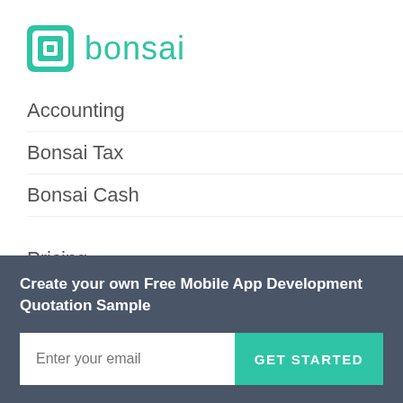[Figure (logo): Bonsai logo with teal square icon and teal 'bonsai' wordmark]
Accounting
Bonsai Tax
Bonsai Cash
Pricing
Bonsai Reviews
FREE RESOURCES
Create your own Free Mobile App Development Quotation Sample
Enter your email
GET STARTED